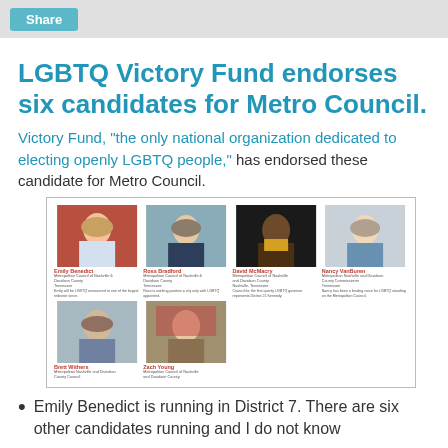Share
LGBTQ Victory Fund endorses six candidates for Metro Council.
Victory Fund, "the only national organization dedicated to electing openly LGBTQ people," has endorsed these candidate for Metro Council.
[Figure (photo): Grid of six candidate photos: Emily Benedict, Ross Bradford, David McMacry, Nancy VanBuren (top row), Brett Withers, Zach Young (bottom row), each with name and description text below their photo.]
Emily Benedict is running in District 7. There are six other candidates running and I do not know